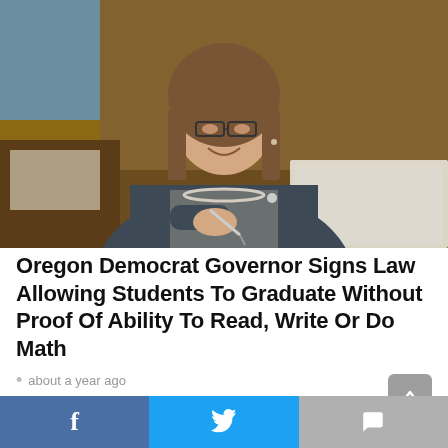[Figure (photo): Woman in business attire with glasses and pearl necklace sitting at a desk signing documents, in what appears to be an official government office setting]
Oregon Democrat Governor Signs Law Allowing Students To Graduate Without Proof Of Ability To Read, Write Or Do Math
about a year ago